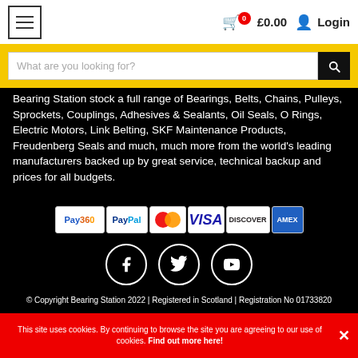Navigation menu | £0.00 | Login
What are you looking for?
Bearing Station stock a full range of Bearings, Belts, Chains, Pulleys, Sprockets, Couplings, Adhesives & Sealants, Oil Seals, O Rings, Electric Motors, Link Belting, SKF Maintenance Products, Freudenberg Seals and much, much more from the world's leading manufacturers backed up by great service, technical backup and prices for all budgets.
[Figure (other): Payment method logos: Pay360, PayPal, MasterCard, VISA, Discover, American Express]
[Figure (other): Social media icons: Facebook, Twitter, YouTube]
© Copyright Bearing Station 2022 | Registered in Scotland | Registration No 01733820
Web Development WebXeL Ltd.
This site uses cookies. By continuing to browse the site you are agreeing to our use of cookies. Find out more here!